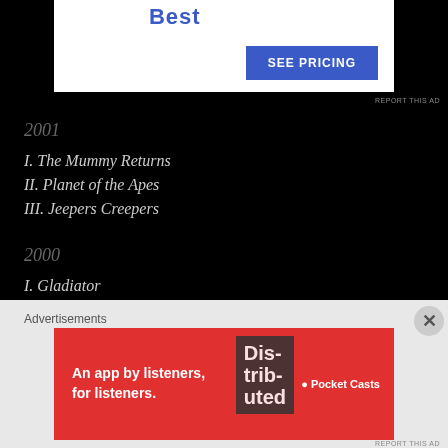[Figure (other): Advertisement banner at top showing 'Works Best' text with a blue 'SEE PRICING' button on white background]
2001
I. The Mummy Returns
II. Planet of the Apes
III. Jeepers Creepers
2000
I. Gladiator
II. The Cell
III. Bedazzled
1999
Advertisements
[Figure (other): Pocket Casts advertisement: 'An app by listeners, for listeners.' on red background with phone image]